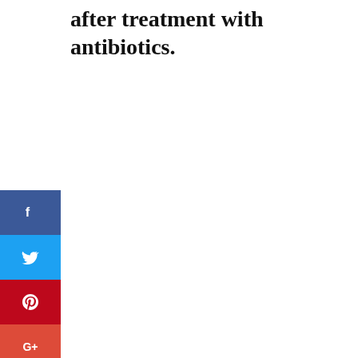after treatment with antibiotics.
[Figure (photo): Social media share buttons sidebar (Facebook, Twitter, Pinterest, Google+, Reddit, Digg) on the left, and a photo of colorful pills and capsules arranged in an arc next to a white pill bottle on a pink background, with a reCAPTCHA badge overlay in the bottom right.]